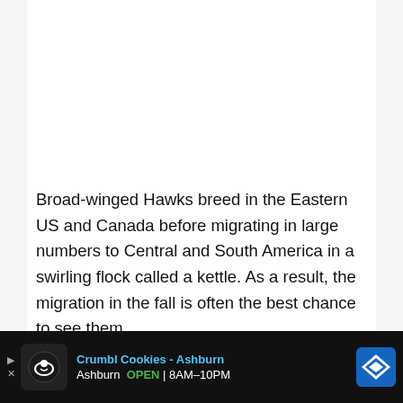Broad-winged Hawks breed in the Eastern US and Canada before migrating in large numbers to Central and South America in a swirling flock called a kettle. As a result, the migration in the fall is often the best chance to see them.
Hunting from a perch, often on the edge of woods or water, these hawks eat small mammals, frogs, snakes, and even young
[Figure (screenshot): Advertisement banner for Crumbl Cookies - Ashburn showing logo, store name, open status 8AM-10PM, and map icon]